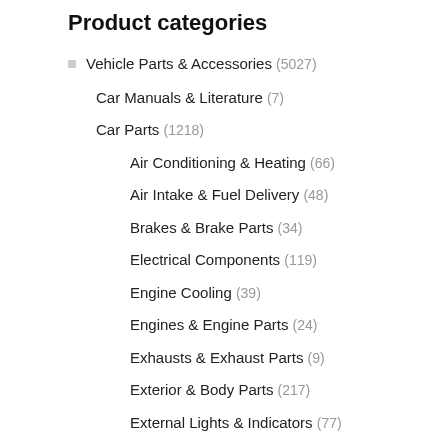Product categories
Vehicle Parts & Accessories (5027)
Car Manuals & Literature (7)
Car Parts (1218)
Air Conditioning & Heating (66)
Air Intake & Fuel Delivery (48)
Brakes & Brake Parts (34)
Electrical Components (119)
Engine Cooling (39)
Engines & Engine Parts (24)
Exhausts & Exhaust Parts (9)
Exterior & Body Parts (217)
External Lights & Indicators (77)